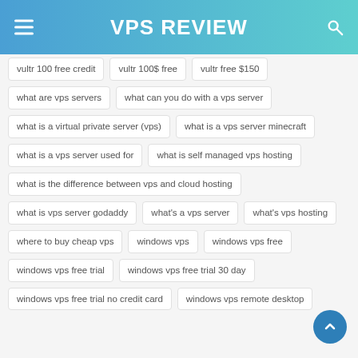VPS REVIEW
vultr 100 free credit
vultr 100$ free
vultr free $150
what are vps servers
what can you do with a vps server
what is a virtual private server (vps)
what is a vps server minecraft
what is a vps server used for
what is self managed vps hosting
what is the difference between vps and cloud hosting
what is vps server godaddy
what's a vps server
what's vps hosting
where to buy cheap vps
windows vps
windows vps free
windows vps free trial
windows vps free trial 30 day
windows vps free trial no credit card
windows vps remote desktop